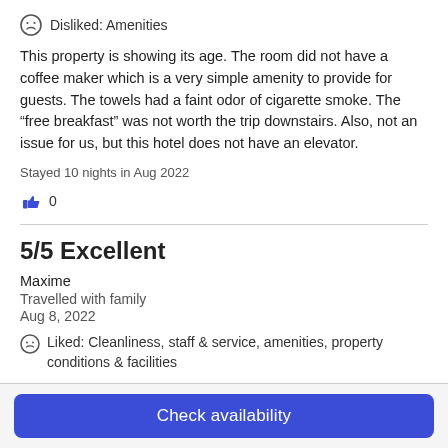Disliked: Amenities
This property is showing its age. The room did not have a coffee maker which is a very simple amenity to provide for guests. The towels had a faint odor of cigarette smoke. The “free breakfast” was not worth the trip downstairs. Also, not an issue for us, but this hotel does not have an elevator.
Stayed 10 nights in Aug 2022
0
5/5 Excellent
Maxime
Travelled with family
Aug 8, 2022
Liked: Cleanliness, staff & service, amenities, property conditions & facilities
Clean and conformable.
Check availability